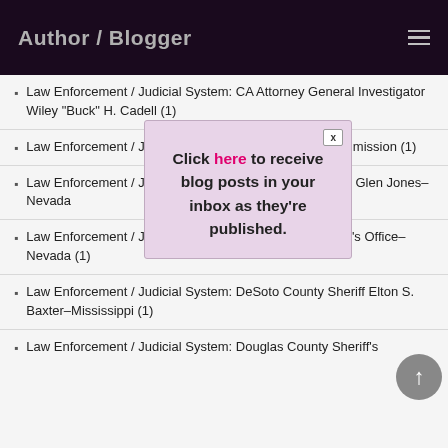Author / Blogger
Law Enforcement / Judicial System: CA Attorney General Investigator Wiley "Buck" H. Cadell (1)
Law Enforcement / Judicial System: Chicago Crime Commission (1)
Law Enforcement / Judicial System: Clark County Sheriff Glen Jones–Nevada
Law Enforcement / Judicial System: Clark County Sheriff's Office–Nevada (1)
Law Enforcement / Judicial System: DeSoto County Sheriff Elton S. Baxter–Mississippi (1)
Law Enforcement / Judicial System: Douglas County Sheriff's
[Figure (other): Modal popup overlay with close button (X) and text: Click here to receive blog posts in your inbox as they're published.]